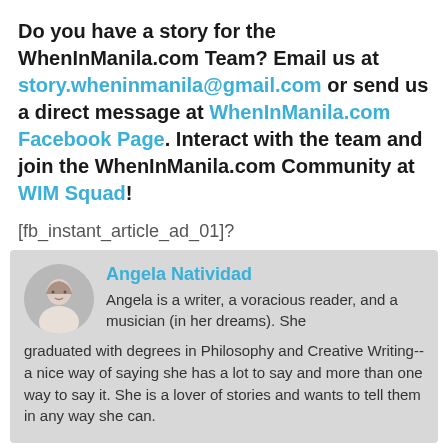Do you have a story for the WhenInManila.com Team? Email us at story.wheninmanila@gmail.com or send us a direct message at WhenInManila.com Facebook Page. Interact with the team and join the WhenInManila.com Community at WIM Squad!
[fb_instant_article_ad_01]?
Angela Natividad
Angela is a writer, a voracious reader, and a musician (in her dreams). She graduated with degrees in Philosophy and Creative Writing--a nice way of saying she has a lot to say and more than one way to say it. She is a lover of stories and wants to tell them in any way she can.